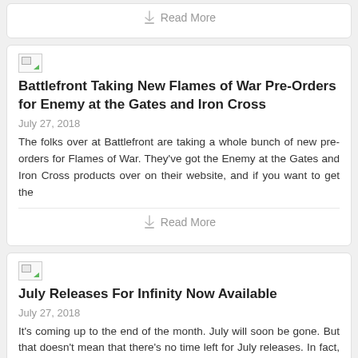Read More
[Figure (illustration): Broken image placeholder icon]
Battlefront Taking New Flames of War Pre-Orders for Enemy at the Gates and Iron Cross
July 27, 2018
The folks over at Battlefront are taking a whole bunch of new pre-orders for Flames of War. They've got the Enemy at the Gates and Iron Cross products over on their website, and if you want to get the
Read More
[Figure (illustration): Broken image placeholder icon]
July Releases For Infinity Now Available
July 27, 2018
It's coming up to the end of the month. July will soon be gone. But that doesn't mean that there's no time left for July releases. In fact, Corvus Belli has just posted up their July releases for Infi
Read More